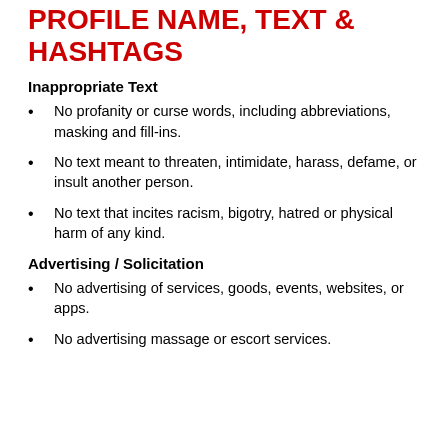PROFILE NAME, TEXT & HASHTAGS
Inappropriate Text
No profanity or curse words, including abbreviations, masking and fill-ins.
No text meant to threaten, intimidate, harass, defame, or insult another person.
No text that incites racism, bigotry, hatred or physical harm of any kind.
Advertising / Solicitation
No advertising of services, goods, events, websites, or apps.
No advertising massage or escort services.